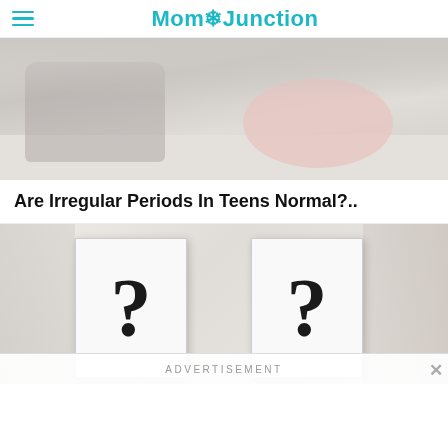MomJunction
[Figure (photo): Teen girl sitting on floor near a pink round pillow/cushion, wearing grey outfit, viewed from floor level in a light colored room.]
Are Irregular Periods In Teens Normal?..
[Figure (photo): Two people holding large white cards with bold black question marks in front of their faces, obscuring their identities.]
ADVERTISEMENT